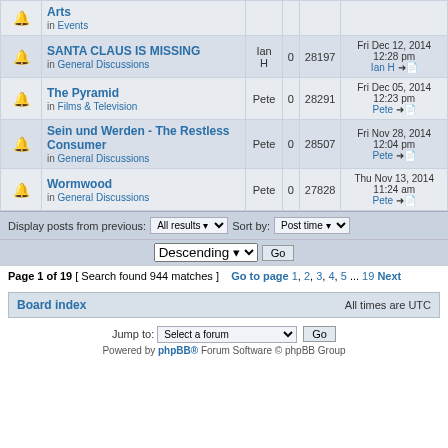|  | Topic | Author | Replies | Views | Last post |
| --- | --- | --- | --- | --- | --- |
| (icon) | Arts in Events |  |  |  |  |
| (icon) | SANTA CLAUS IS MISSING in General Discussions | Ian H | 0 | 28197 | Fri Dec 12, 2014 12:28 pm Ian H → |
| (icon) | The Pyramid in Films & Television | Pete | 0 | 28291 | Fri Dec 05, 2014 12:23 pm Pete → |
| (icon) | Sein und Werden - The Restless Consumer in General Discussions | Pete | 0 | 28507 | Fri Nov 28, 2014 12:04 pm Pete → |
| (icon) | Wormwood in General Discussions | Pete | 0 | 27828 | Thu Nov 13, 2014 11:24 am Pete → |
Display posts from previous: All results  Sort by: Post time  Descending  Go
Page 1 of 19 [ Search found 944 matches ]  Go to page 1, 2, 3, 4, 5 ... 19  Next
Board index  All times are UTC
Jump to: Select a forum  Go
Powered by phpBB® Forum Software © phpBB Group